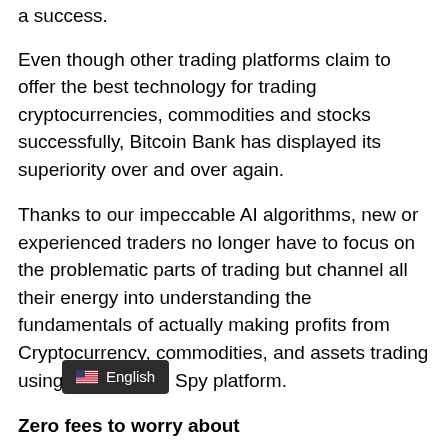a success.
Even though other trading platforms claim to offer the best technology for trading cryptocurrencies, commodities and stocks successfully, Bitcoin Bank has displayed its superiority over and over again.
Thanks to our impeccable AI algorithms, new or experienced traders no longer have to focus on the problematic parts of trading but channel all their energy into understanding the fundamentals of actually making profits from Cryptocurrency, commodities, and assets trading using Them News Spy platform.
Zero fees to worry about
The goal of Bitcoin Bank platform isn't just to make trading as hassle-free as possible but also to remove all of the unnecessary barriers that prevent traders, especially